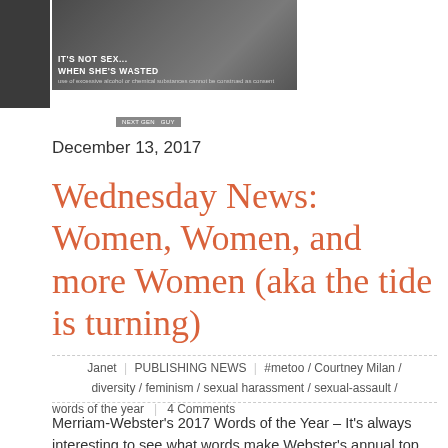[Figure (photo): Photo of two people with overlaid text 'IT'S NOT SEX... WHEN SHE'S WASTED' and a small caption below]
[Figure (other): Small badge/button graphic]
December 13, 2017
Wednesday News: Women, Women, and more Women (aka the tide is turning)
Janet | PUBLISHING NEWS | #metoo / Courtney Milan / diversity / feminism / sexual harassment / sexual-assault / words of the year | 4 Comments
Merriam-Webster's 2017 Words of the Year – It's always interesting to see what words make Webster's annual top ten list, and this year is no exception. Not surprisingly, it is